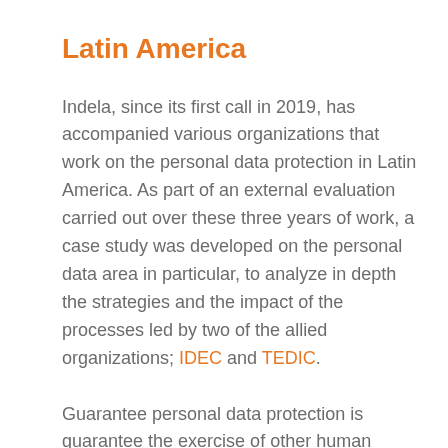Latin America
Indela, since its first call in 2019, has accompanied various organizations that work on the personal data protection in Latin America. As part of an external evaluation carried out over these three years of work, a case study was developed on the personal data area in particular, to analyze in depth the strategies and the impact of the processes led by two of the allied organizations; IDEC and TEDIC.
Guarantee personal data protection is guarantee the exercise of other human rights, such as privacy and freedom of expression. Providing tools and mechanisms that guarantee the confidentiality, security and personal data